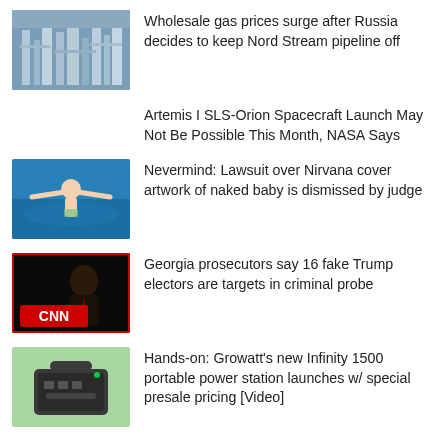[Figure (photo): Industrial gas facility/pipeline infrastructure photo]
Wholesale gas prices surge after Russia decides to keep Nord Stream pipeline off
Artemis I SLS-Orion Spacecraft Launch May Not Be Possible This Month, NASA Says
[Figure (photo): Nirvana Nevermind album cover baby swimming]
Nevermind: Lawsuit over Nirvana cover artwork of naked baby is dismissed by judge
[Figure (photo): CNN screenshot of Donald Trump with CNN logo]
Georgia prosecutors say 16 fake Trump electors are targets in criminal probe
[Figure (photo): Growatt Infinity 1500 portable power station product photo on green background]
Hands-on: Growatt's new Infinity 1500 portable power station launches w/ special presale pricing [Video]